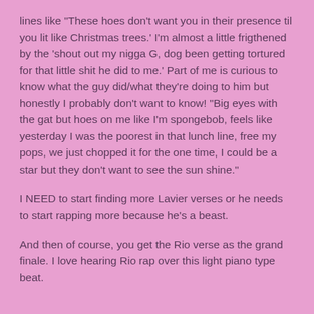lines like "These hoes don’t want you in their presence til you lit like Christmas trees.’ I’m almost a little frigthened by the ‘shout out my nigga G, dog been getting tortured for that little shit he did to me.’ Part of me is curious to know what the guy did/what they’re doing to him but honestly I probably don’t want to know! “Big eyes with the gat but hoes on me like I’m spongebob, feels like yesterday I was the poorest in that lunch line, free my pops, we just chopped it for the one time, I could be a star but they don’t want to see the sun shine.”
I NEED to start finding more Lavier verses or he needs to start rapping more because he’s a beast.
And then of course, you get the Rio verse as the grand finale. I love hearing Rio rap over this light piano type beat.